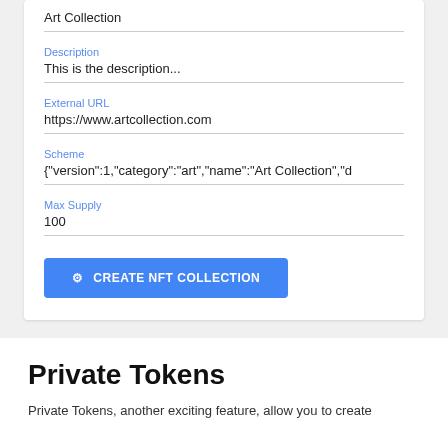Art Collection
Description
This is the description...
External URL
https://www.artcollection.com
Scheme
{"version":1,"category":"art","name":"Art Collection","d
Max Supply
100
CREATE NFT COLLECTION
Private Tokens
Private Tokens, another exciting feature, allow you to create